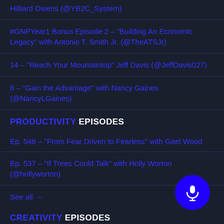Hilliard Owens (@YB2C_System)
#GNPYear1 Bonus Episode 2 – "Building An Economic Legacy" with Antonio T. Smith Jr. (@TheATSJr)
14 – "Reach Your Mountaintop" Jeff Davis (@JeffDavis027)
8 – "Gain the Advantage" with Nancy Gaines (@NancyLGaines)
PRODUCTIVITY EPISODES
Ep. 546 – "From Fear Driven to Fearless" with Gael Wood
Ep. 537 – "If Trees Could Talk" with Holly Worton (@hollyworton)
See all →
CREATIVITY EPISODES
Ep. 549 – "Japan's Best Kept Culinary Secret" with Christopher